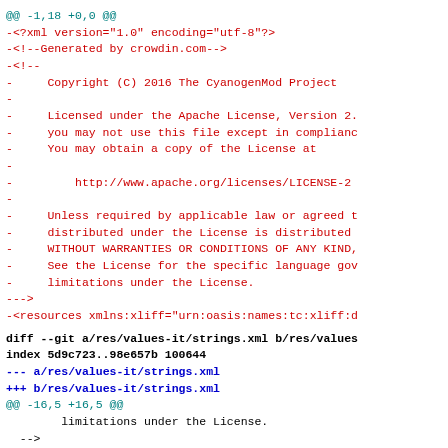@@ -1,18 +0,0 @@
-<?xml version="1.0" encoding="utf-8"?>
-<!--Generated by crowdin.com-->
-<!--
-     Copyright (C) 2016 The CyanogenMod Project
-
-     Licensed under the Apache License, Version 2.
-     you may not use this file except in compliance
-     You may obtain a copy of the License at
-
-         http://www.apache.org/licenses/LICENSE-2
-
-     Unless required by applicable law or agreed t
-     distributed under the License is distributed
-     WITHOUT WARRANTIES OR CONDITIONS OF ANY KIND,
-     See the License for the specific language gov
-     limitations under the License.
--->
-<resources xmlns:xliff="urn:oasis:names:tc:xliff:d
diff --git a/res/values-it/strings.xml b/res/values
index 5d9c723..98e657b 100644
--- a/res/values-it/strings.xml
+++ b/res/values-it/strings.xml
@@ -16,5 +16,5 @@
        limitations under the License.
  -->
 <resources xmlns:xliff="urn:oasis:names:tc:xliff:d
-  <string name="app_name">Servizio meteo</string>
+    <string name="app_name">Servizio meteo</string